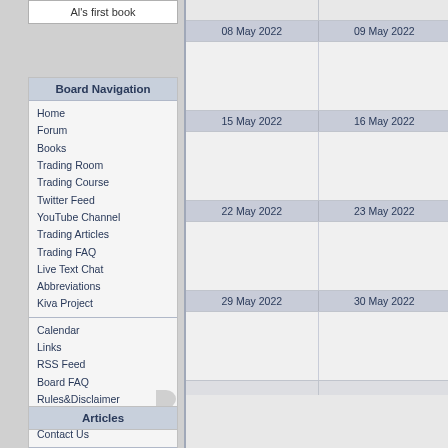Al's first book
Board Navigation
Home
Forum
Books
Trading Room
Trading Course
Twitter Feed
YouTube Channel
Trading Articles
Trading FAQ
Live Text Chat
Abbreviations
Kiva Project
Calendar
Links
RSS Feed
Board FAQ
Rules&Disclaimer
Staff
Contact Us
My Cookies
Tell A Friend
Articles
| 08 May 2022 | 09 May 2022 |
| --- | --- |
|  |  |
|  |  |
| 15 May 2022 | 16 May 2022 |
|  |  |
| 22 May 2022 | 23 May 2022 |
|  |  |
| 29 May 2022 | 30 May 2022 |
|  |  |